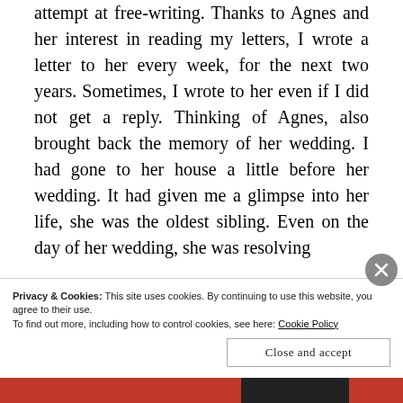attempt at free-writing. Thanks to Agnes and her interest in reading my letters, I wrote a letter to her every week, for the next two years. Sometimes, I wrote to her even if I did not get a reply. Thinking of Agnes, also brought back the memory of her wedding. I had gone to her house a little before her wedding. It had given me a glimpse into her life, she was the oldest sibling. Even on the day of her wedding, she was resolving
Privacy & Cookies: This site uses cookies. By continuing to use this website, you agree to their use.
To find out more, including how to control cookies, see here: Cookie Policy
Close and accept